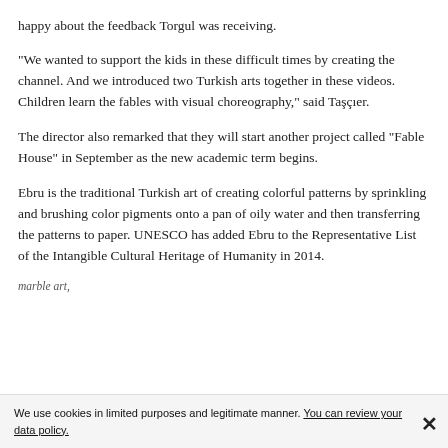happy about the feedback Torgul was receiving.
“We wanted to support the kids in these difficult times by creating the channel. And we introduced two Turkish arts together in these videos. Children learn the fables with visual choreography,” said Taşçıer.
The director also remarked that they will start another project called “Fable House” in September as the new academic term begins.
Ebru is the traditional Turkish art of creating colorful patterns by sprinkling and brushing color pigments onto a pan of oily water and then transferring the patterns to paper. UNESCO has added Ebru to the Representative List of the Intangible Cultural Heritage of Humanity in 2014.
marble art,
We use cookies in limited purposes and legitimate manner. You can review your data policy.